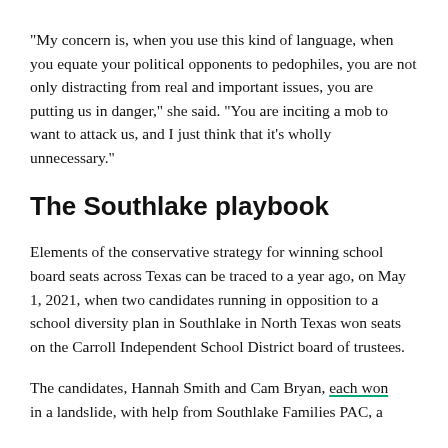“My concern is, when you use this kind of language, when you equate your political opponents to pedophiles, you are not only distracting from real and important issues, you are putting us in danger,” she said. “You are inciting a mob to want to attack us, and I just think that it’s wholly unnecessary.”
The Southlake playbook
Elements of the conservative strategy for winning school board seats across Texas can be traced to a year ago, on May 1, 2021, when two candidates running in opposition to a school diversity plan in Southlake in North Texas won seats on the Carroll Independent School District board of trustees.
The candidates, Hannah Smith and Cam Bryan, each won in a landslide, with help from Southlake Families PAC, a